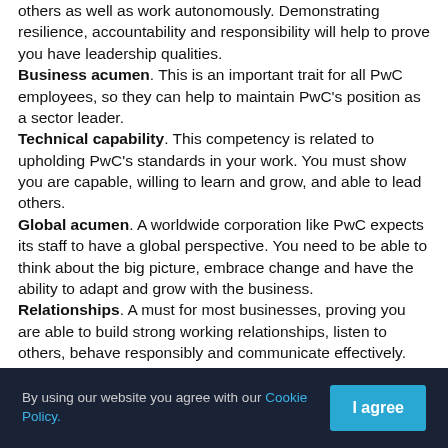others as well as work autonomously. Demonstrating resilience, accountability and responsibility will help to prove you have leadership qualities.
Business acumen. This is an important trait for all PwC employees, so they can help to maintain PwC's position as a sector leader.
Technical capability. This competency is related to upholding PwC's standards in your work. You must show you are capable, willing to learn and grow, and able to lead others.
Global acumen. A worldwide corporation like PwC expects its staff to have a global perspective. You need to be able to think about the big picture, embrace change and have the ability to adapt and grow with the business.
Relationships. A must for most businesses, proving you are able to build strong working relationships, listen to others, behave responsibly and communicate effectively.
Online application
By using our website you agree with our Cookie Policy.